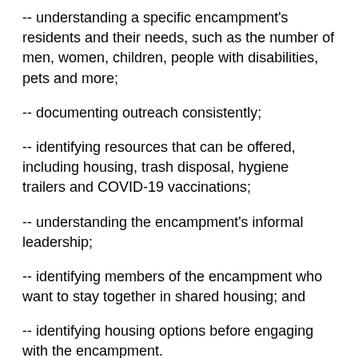-- understanding a specific encampment's residents and their needs, such as the number of men, women, children, people with disabilities, pets and more;
-- documenting outreach consistently;
-- identifying resources that can be offered, including housing, trash disposal, hygiene trailers and COVID-19 vaccinations;
-- understanding the encampment's informal leadership;
-- identifying members of the encampment who want to stay together in shared housing; and
-- identifying housing options before engaging with the encampment.